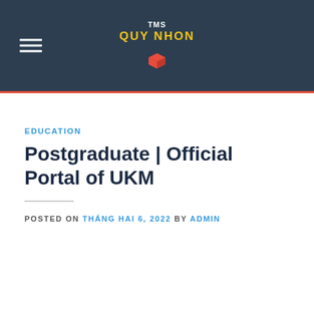TMS QUY NHON
EDUCATION
Postgraduate | Official Portal of UKM
POSTED ON THÁNG HAI 6, 2022 BY ADMIN